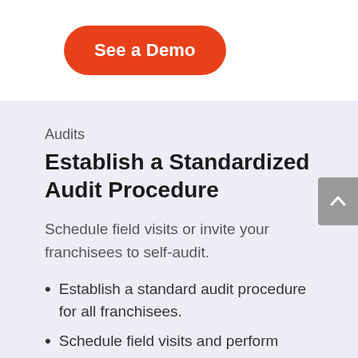[Figure (other): Orange rounded button labeled 'See a Demo']
Audits
Establish a Standardized Audit Procedure
Schedule field visits or invite your franchisees to self-audit.
Establish a standard audit procedure for all franchisees.
Schedule field visits and perform audits on location using mobile.